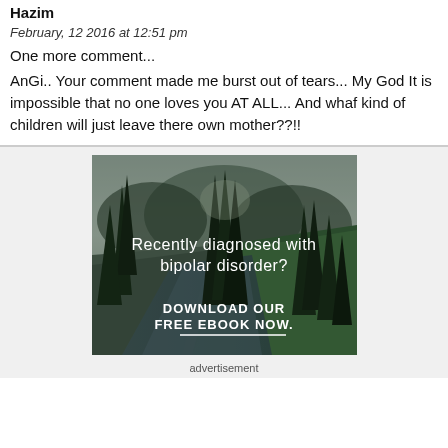Hazim
February, 12 2016 at 12:51 pm
One more comment...
AnGi.. Your comment made me burst out of tears... My God It is impossible that no one loves you AT ALL... And whaf kind of children will just leave there own mother??!!
[Figure (illustration): Advertisement image showing a forest with a river path, with text overlay: 'Recently diagnosed with bipolar disorder? DOWNLOAD OUR FREE EBOOK NOW.' with a horizontal underline beneath the call to action text.]
advertisement